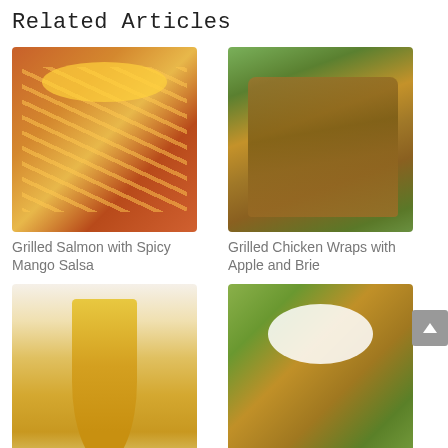Related Articles
[Figure (photo): Grilled salmon fillets topped with colorful spicy mango salsa with red onion and herbs]
Grilled Salmon with Spicy Mango Salsa
[Figure (photo): Stack of grilled chicken wraps with apple and brie, with wine glasses in background]
Grilled Chicken Wraps with Apple and Brie
[Figure (photo): Golden yellow sunrise smoothie in a tall glass with a red and white striped straw]
Sunrise Smoothie
[Figure (photo): Turkey chili topped with sour cream and sliced green onions in a white bowl]
Turkey Chili with Tomatillo Salsa